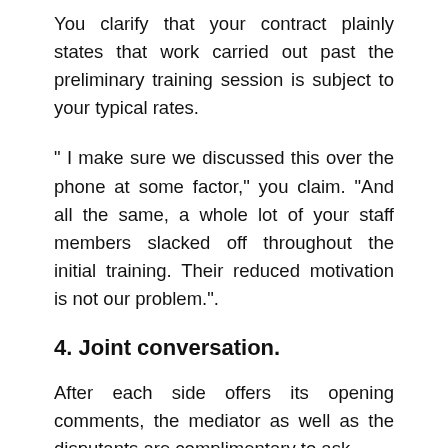You clarify that your contract plainly states that work carried out past the preliminary training session is subject to your typical rates.
" I make sure we discussed this over the phone at some factor," you claim. "And all the same, a whole lot of your staff members slacked off throughout the initial training. Their reduced motivation is not our problem.".
4. Joint conversation.
After each side offers its opening comments, the mediator as well as the disputants are complimentary to ask